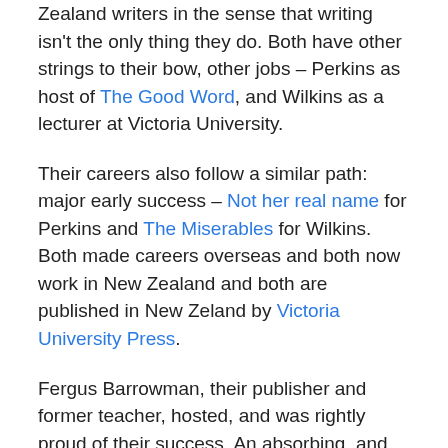Zealand writers in the sense that writing isn't the only thing they do. Both have other strings to their bow, other jobs – Perkins as host of The Good Word, and Wilkins as a lecturer at Victoria University.
Their careers also follow a similar path: major early success – Not her real name for Perkins and The Miserables for Wilkins. Both made careers overseas and both now work in New Zealand and both are published in New Zeland by Victoria University Press.
Fergus Barrowman, their publisher and former teacher, hosted, and was rightly proud of their success. An absorbing, and detailed session followed, which concentrated on the writing process, the challenging and invigorating process of teaching creative writing.
We discovered that Wilkins dislikes satirical writing, and